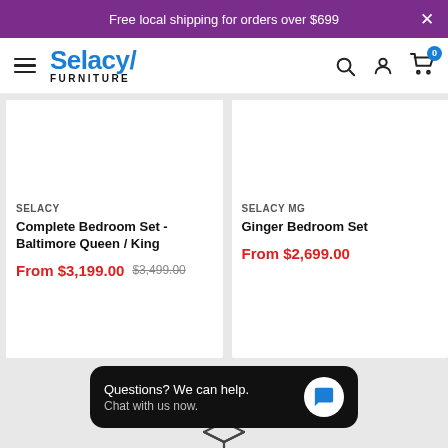Free local shipping for orders over $699
[Figure (logo): Selacy Furniture logo with hamburger menu, search, account, and cart icons]
SELACY
Complete Bedroom Set - Baltimore Queen / King
From $3,199.00  $3,499.00
SELACY MG
Ginger Bedroom Set
From $2,699.00
Questions? We can help. Chat with us now.